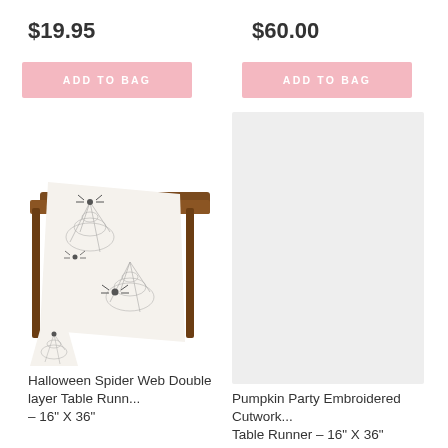$19.95
ADD TO BAG
$60.00
ADD TO BAG
[Figure (photo): Halloween Spider Web table runner with spider web and spiders pattern draped over a dark wood table]
[Figure (photo): Light gray/white placeholder image for Pumpkin Party Embroidered Cutwork Table Runner]
Halloween Spider Web Double layer Table Runn... – 16" X 36"
Pumpkin Party Embroidered Cutwork... Table Runner – 16" X 36"